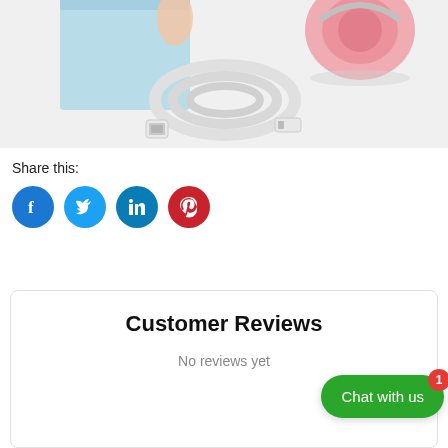[Figure (photo): Product photo showing a light blue box packaging, a pink wireless headphone, and a white USB charging cable on a white background]
Share this:
[Figure (infographic): Four social media icons: Facebook (dark blue circle), Twitter (light blue circle), LinkedIn (teal circle), Pinterest (red circle)]
Customer Reviews
No reviews yet
Chat with us